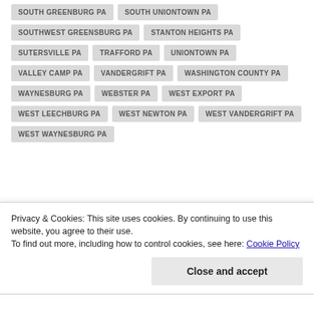SOUTH GREENBURG PA
SOUTH UNIONTOWN PA
SOUTHWEST GREENSBURG PA
STANTON HEIGHTS PA
SUTERSVILLE PA
TRAFFORD PA
UNIONTOWN PA
VALLEY CAMP PA
VANDERGRIFT PA
WASHINGTON COUNTY PA
WAYNESBURG PA
WEBSTER PA
WEST EXPORT PA
WEST LEECHBURG PA
WEST NEWTON PA
WEST VANDERGRIFT PA
WEST WAYNESBURG PA
Privacy & Cookies: This site uses cookies. By continuing to use this website, you agree to their use.
To find out more, including how to control cookies, see here: Cookie Policy